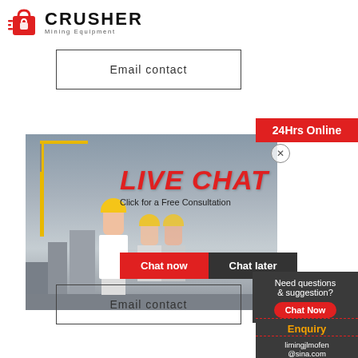[Figure (logo): CRUSHER Mining Equipment logo with red icon and bold black text]
Email contact
[Figure (screenshot): Live chat popup banner showing construction workers in hard hats, LIVE CHAT text in red, 'Click for a Free Consultation', Chat now and Chat later buttons, and a customer service representative with headset on the right]
24Hrs Online
Need questions & suggestion?
Chat Now
Enquiry
limingjlmofen@sina.com
Email contact